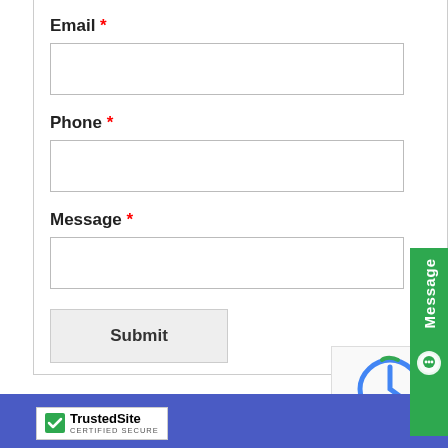Email *
[Figure (screenshot): Empty email input field (text box)]
Phone *
[Figure (screenshot): Empty phone input field (text box)]
Message *
[Figure (screenshot): Empty message input field (text area)]
[Figure (screenshot): Submit button]
[Figure (screenshot): Green Message tab on right edge with chat icon]
[Figure (logo): TrustedSite Certified Secure badge]
[Figure (screenshot): reCAPTCHA widget]
[Figure (screenshot): Blue footer bar]